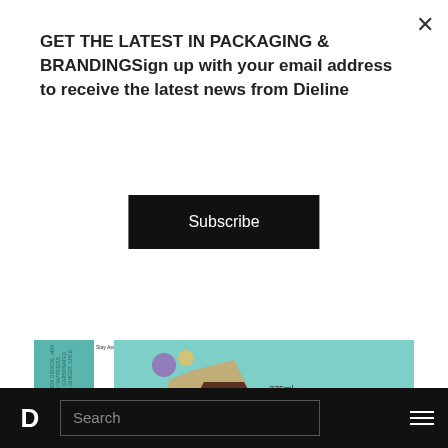GET THE LATEST IN PACKAGING & BRANDINGSign up with your email address to receive the latest news from Dieline
Subscribe
[Figure (photo): StrangeLove Organic Energy Elixir Ginger Beer product label featuring surreal illustrated art with a geometric face, barcode with eye graphic, and teal background]
[Figure (photo): Dark background image showing bottles, partially visible]
D  Search  ☰